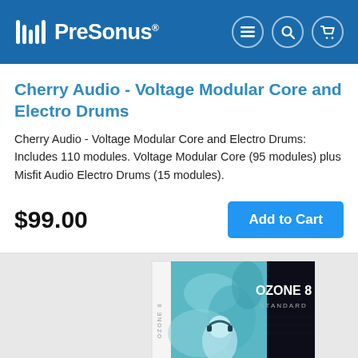PreSonus
Cherry Audio - Voltage Modular Core and Electro Drums
Cherry Audio - Voltage Modular Core and Electro Drums: Includes 110 modules. Voltage Modular Core (95 modules) plus Misfit Audio Electro Drums (15 modules).
$99.00
Add to Cart
[Figure (photo): Partial view of Ozone 8 Standard software box packaging with cyan smoke and a person wearing headphones]